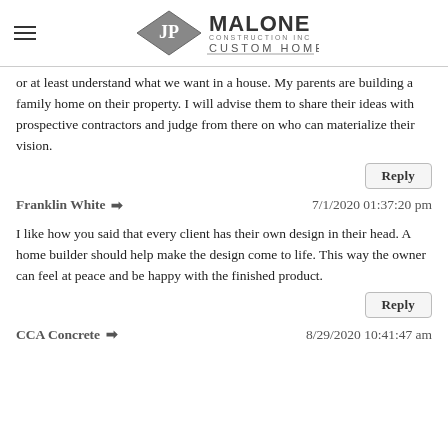JP Malone Custom Homes
or at least understand what we want in a house. My parents are building a family home on their property. I will advise them to share their ideas with prospective contractors and judge from there on who can materialize their vision.
Reply
Franklin White  7/1/2020 01:37:20 pm
I like how you said that every client has their own design in their head. A home builder should help make the design come to life. This way the owner can feel at peace and be happy with the finished product.
Reply
CCA Concrete  8/29/2020 10:41:47 am